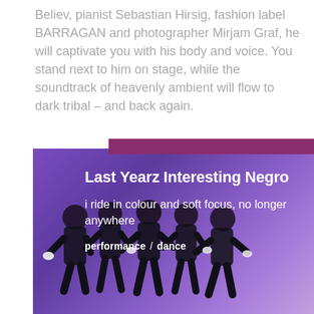Believ, pianist Sebastian Hirsig, fashion label BARRAGAN and photographer Mirjam Graf, he will captivate you with his body and voice. You stand next to him on stage, while the soundtrack of heavenly ambient will flow to dark tribal – and back again.
[Figure (photo): Performance/dance photo showing multiple dancers in black outfits on a purple-lit stage, with overlaid text reading 'Last Yearz Interesting Negro', subtitle 'i ride in colour and soft focus, no longer anywhere', and tags 'performance / dance']